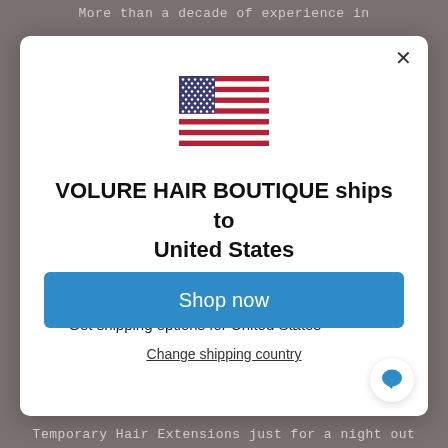More than a decade of experience in
[Figure (illustration): US flag emoji/icon centered in modal]
VOLURE HAIR BOUTIQUE ships to United States
Shop in ZAR R
Get shipping options for United States
Shop now
Change shipping country
Temporary Hair Extensions just for a night out